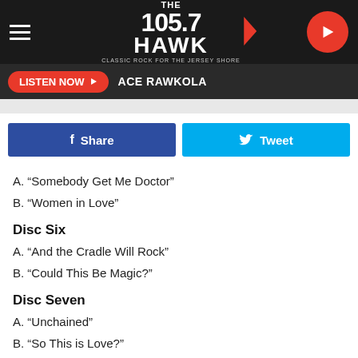[Figure (logo): The 105.7 The Hawk classic rock radio station logo with hamburger menu and play button]
LISTEN NOW  ACE RAWKOLA
[Figure (infographic): Facebook Share and Twitter Tweet social sharing buttons]
A. “Somebody Get Me Doctor”
B. “Women in Love”
Disc Six
A. “And the Cradle Will Rock”
B. “Could This Be Magic?”
Disc Seven
A. “Unchained”
B. “So This is Love?”
Disc Eight